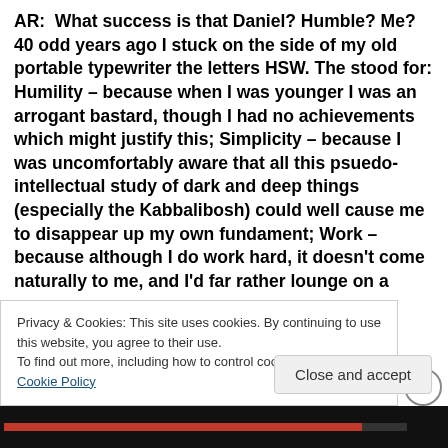AR:  What success is that Daniel? Humble? Me? 40 odd years ago I stuck on the side of my old portable typewriter the letters HSW. The stood for: Humility – because when I was younger I was an arrogant bastard, though I had no achievements which might justify this; Simplicity – because I was uncomfortably aware that all this psuedo-intellectual study of dark and deep things (especially the Kabbalibosh) could well cause me to disappear up my own fundament; Work – because although I do work hard, it doesn't come naturally to me, and I'd far rather lounge on a
Privacy & Cookies: This site uses cookies. By continuing to use this website, you agree to their use.
To find out more, including how to control cookies, see here: Cookie Policy